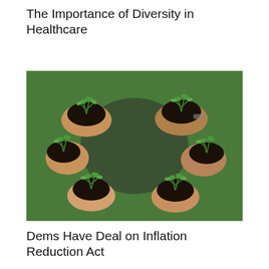The Importance of Diversity in Healthcare
[Figure (photo): Multiple pairs of hands arranged in a circle, each cupping soil with small green plant seedlings growing from them, photographed from above on a green grass background.]
Dems Have Deal on Inflation Reduction Act